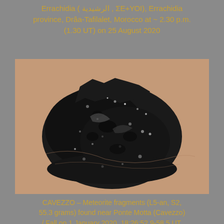Errachidia ( الرشيدية , ΣΕ+ΥΟΙ), Errachidia province, Drâa-Tafilalet, Morocco at ~ 2.30 p.m. (1.30 UT) on 25 August 2020
[Figure (photo): A dark black meteorite fragment held in a human hand, showing a rough, regmaglypted fusion crust surface with metallic flakes and pits.]
CAVEZZO – Meteorite fragments (L5-an, S2, 55.3 grams) found near Ponte Motta (Cavezzo) / Fall on 1 January 2020, 18:26:52.9-58.5 UT, Rovereto sul Secchia, Modena, Emilia-Romagna, Italy